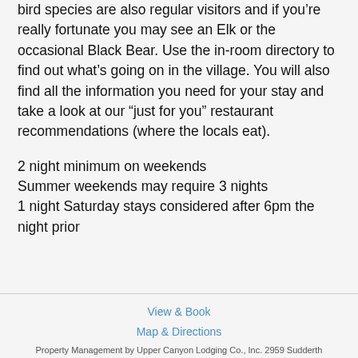bird species are also regular visitors and if you’re really fortunate you may see an Elk or the occasional Black Bear. Use the in-room directory to find out what’s going on in the village. You will also find all the information you need for your stay and take a look at our “just for you” restaurant recommendations (where the locals eat).
2 night minimum on weekends
Summer weekends may require 3 nights
1 night Saturday stays considered after 6pm the night prior
View & Book
Map & Directions
Property Management by Upper Canyon Lodging Co., Inc. 2959 Sudderth